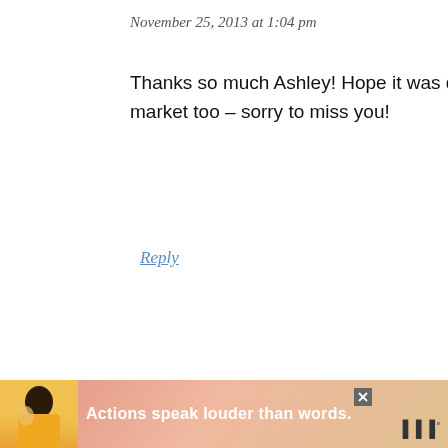November 25, 2013 at 1:04 pm
Thanks so much Ashley! Hope it was delish. We were at the market too – sorry to miss you!
Reply
megan @ that running girl says
November 25, 2013 at 1:02 pm
[Figure (screenshot): Ad banner with text 'Actions speak louder than words.' and a person in yellow shirt on the left]
WHAT'S NEXT → Will Jump For Bacon